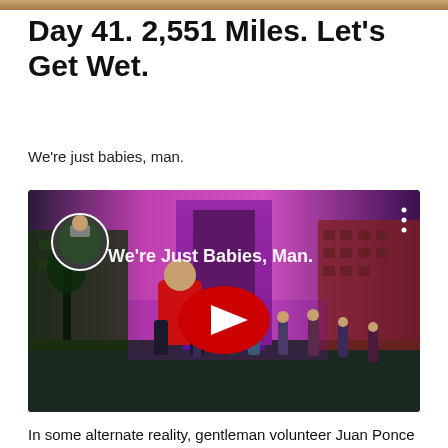[Figure (photo): Partial top strip of a photo visible at the very top of the page]
Day 41. 2,551 Miles. Let's Get Wet.
We're just babies, man.
[Figure (screenshot): YouTube video thumbnail showing a magenta/purple-tinted street scene with an arch monument, people walking, and a person in a red jacket in foreground. Video title overlay reads 'We're Just Babies, Man.' with a red YouTube play button in the center. A small circular profile image appears in the top left corner.]
In some alternate reality, gentleman volunteer Juan Ponce de Leon — who despite historical inaccuracies was never